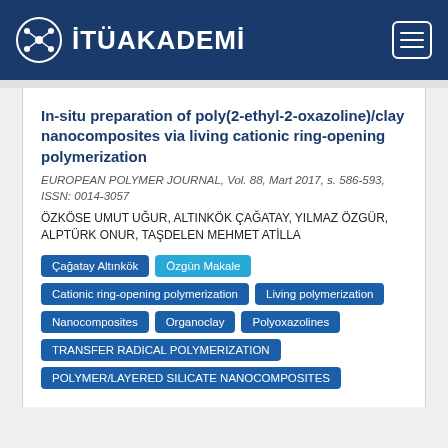İTÜAKADEMİ
In-situ preparation of poly(2-ethyl-2-oxazoline)/clay nanocomposites via living cationic ring-opening polymerization
EUROPEAN POLYMER JOURNAL, Vol. 88, Mart 2017, s. 586-593, ISSN: 0014-3057
ÖZKÖSE UMUT UĞUR, ALTINKÖK ÇAĞATAY, YILMAZ ÖZGÜR, ALPTÜRK ONUR, TAŞDELEN MEHMET ATİLLA
Çağatay Altınkök
Özgün Makale
Cationic ring-opening polymerization
Living polymerization
Nanocomposites
Organoclay
Polyoxazolines
TRANSFER RADICAL POLYMERIZATION
POLYMER/LAYERED SILICATE NANOCOMPOSITES